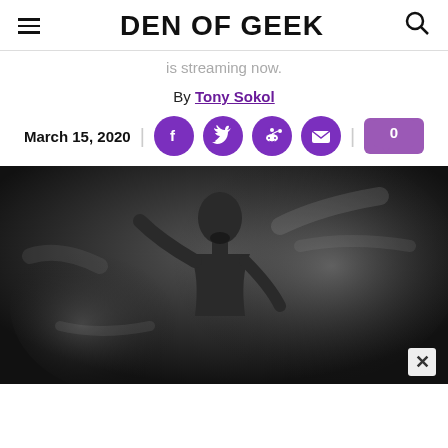DEN OF GEEK
is streaming now.
By Tony Sokol
March 15, 2020
[Figure (photo): Black and white photograph of a bearded man looking upward with dramatic lighting and smoke/mist effects around him]
0